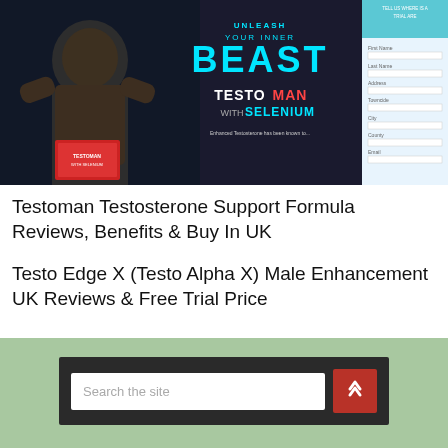[Figure (photo): Promotional image for Testoman testosterone supplement showing a muscular figure on the left with dark background, large cyan text reading 'YOUR INNER BEAST', 'TESTOMAN WITH SELENIUM' in white and red, and a form/signup panel on the right side in light blue.]
Testoman Testosterone Support Formula Reviews, Benefits & Buy In UK
Testo Edge X (Testo Alpha X) Male Enhancement UK Reviews & Free Trial Price
Search the site